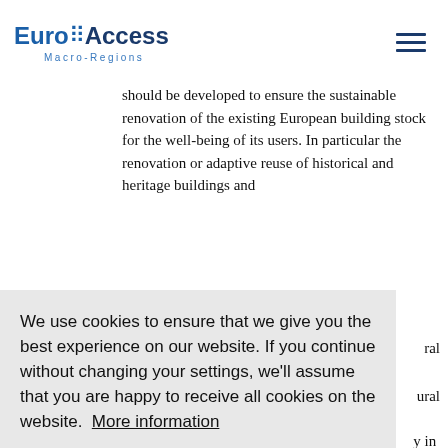EuroAccess Macro-Regions
should be developed to ensure the sustainable renovation of the existing European building stock for the well-being of its users. In particular the renovation or adaptive reuse of historical and heritage buildings and
We use cookies to ensure that we give you the best experience on our website. If you continue without changing your settings, we'll assume that you are happy to receive all cookies on the website.  More information
Agree
ral
ural
y in seek :
ng urate
understanding of buildings